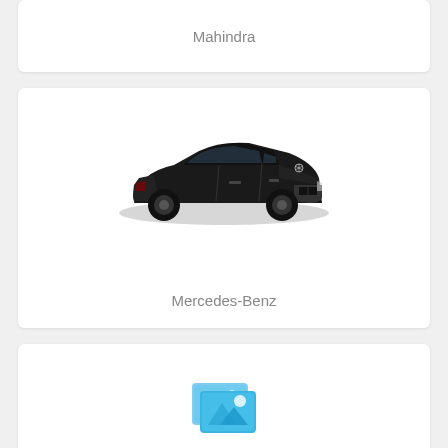Mahindra
[Figure (photo): Black Mercedes-Benz SUV (GLA class) shown in 3/4 front view]
Mercedes-Benz
[Figure (illustration): Blue image placeholder icon (overlapping photos icon)]
MG
[Figure (photo): Partial view of a car, bottom portion visible, cut off at page edge]